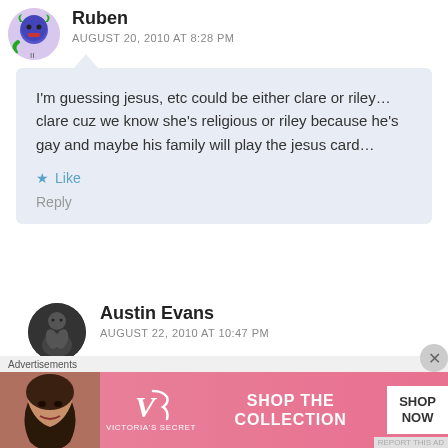Ruben
AUGUST 20, 2010 AT 8:28 PM
I'm guessing jesus, etc could be either clare or riley…clare cuz we know she's religious or riley because he's gay and maybe his family will play the jesus card…
Like
Reply
Austin Evans
AUGUST 22, 2010 AT 10:47 PM
Advertisements
[Figure (screenshot): Victoria's Secret advertisement banner with model, VS logo, 'SHOP THE COLLECTION' text, and 'SHOP NOW' button]